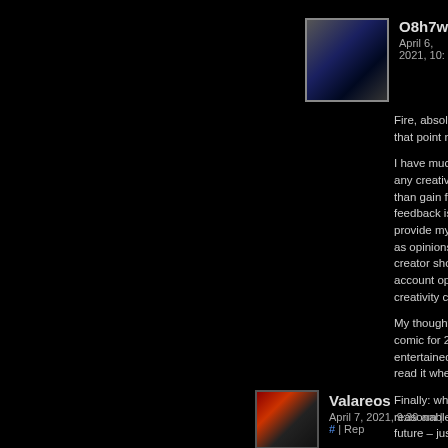[Figure (photo): User avatar for O8h7w - blurred dark blue/grey abstract image]
O8h7w
April 6, 2021, 10:...
Fire, absolutel... that point not h...
I have much a... any creative w... than gain from... feedback is as... provide my tho... as opinions abo... creator should... account opinio... creativity can b...
My thoughts o... comic for 20 (o... entertained at... read it when I...
Finally: when v... reasonable tha... future – just by... any way you c... persevere and...
[Figure (photo): User avatar for Valareos - red/dark dragon illustration]
Valareos
April 7, 2021, 9:39 am | # | Rep...